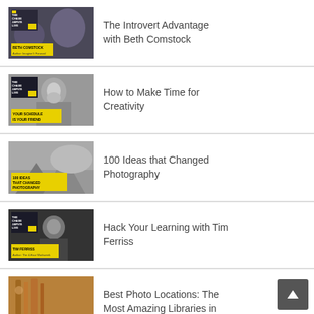[Figure (photo): Thumbnail for Chase Jarvis Live Show episode with Beth Comstock, two people sitting on a couch, yellow title card reading BETH COMSTOCK, Author: Imagine It Forward]
The Introvert Advantage with Beth Comstock
[Figure (photo): Thumbnail for Chase Jarvis Live Show episode, black and white photo of man with beard, yellow title card reading YOUR SCHEDULE IS YOUR FRIEND]
How to Make Time for Creativity
[Figure (photo): Thumbnail for 100 Ideas That Changed Photography, black and white photo of a storm scene, yellow title card reading 100 IDEAS THAT CHANGED PHOTOGRAPHY]
100 Ideas that Changed Photography
[Figure (photo): Thumbnail for Chase Jarvis Live Show episode with Tim Ferriss, man in black shirt, yellow title card reading TIM FERRISS, Author: The 4-Hour Workweek]
Hack Your Learning with Tim Ferriss
[Figure (photo): Thumbnail showing wooden objects or books, partially visible at bottom]
Best Photo Locations: The Most Amazing Libraries in